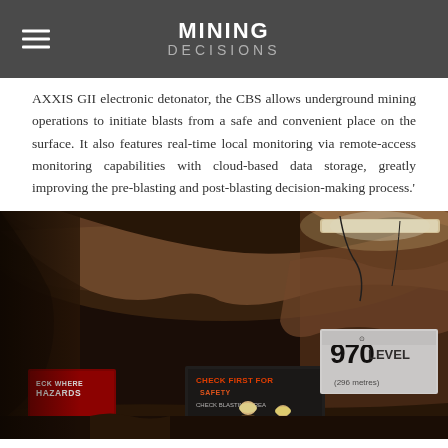MINING DECISIONS
AXXIS GII electronic detonator, the CBS allows underground mining operations to initiate blasts from a safe and convenient place on the surface. It also features real-time local monitoring via remote-access monitoring capabilities with cloud-based data storage, greatly improving the pre-blasting and post-blasting decision-making process.'
[Figure (photo): Underground mine tunnel photograph showing rocky ceiling with fluorescent lighting, a sign reading '970 LEVEL (296 metres)', and warning signs including 'CHECK FIRST FOR HAZARDS' and 'CHECK FIRST FOR SAFETY'. Workers visible in background.]